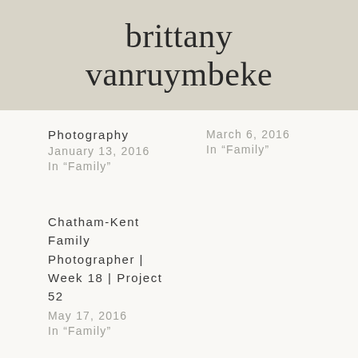brittany vanruymbeke
Photography
January 13, 2016
In “Family”
March 6, 2016
In “Family”
Chatham-Kent Family Photographer | Week 18 | Project 52
May 17, 2016
In “Family”